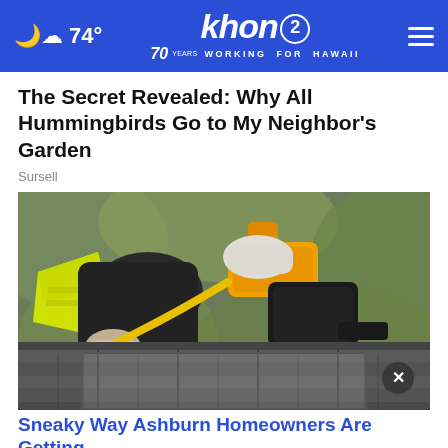74° | khon2 WORKING FOR HAWAII
The Secret Revealed: Why All Hummingbirds Go to My Neighbor's Garden
Sursell
[Figure (photo): A person wearing a yellow safety vest and dark jacket/gloves using an orange pneumatic nail gun on a roof covered with dark asphalt shingles.]
Sneaky Way Ashburn Homeowners Are Getting